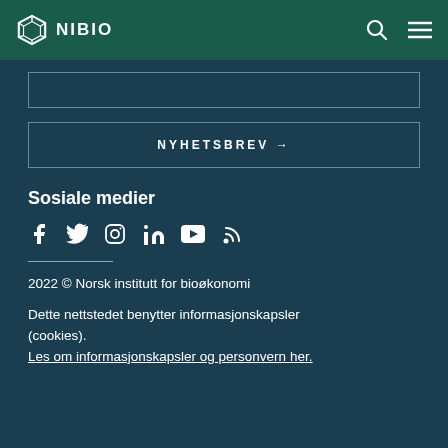NIBIO
[Figure (other): Input/search box (empty)]
NYHETSBREV →
Sosiale medier
[Figure (other): Social media icons: Facebook, Twitter, Instagram, LinkedIn, YouTube, RSS]
2022 © Norsk institutt for bioøkonomi
Dette nettstedet benytter informasjonskapsler (cookies).
Les om informasjonskapsler og personvern her.